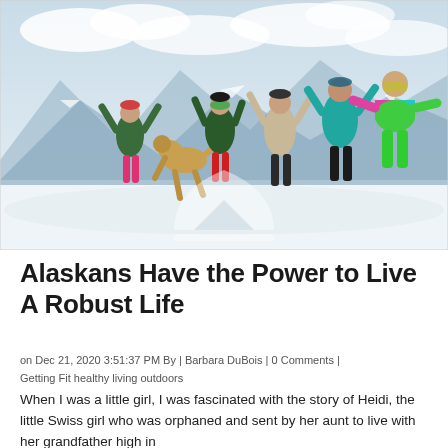[Figure (photo): Group of people and a golden dog jumping joyfully in the snow on a mountain slope. People are wearing colorful winter ski gear including green, teal, pink, and dark outfits. Snowy mountain background with cloudy sky. A semi-transparent mountain logo/watermark is visible at the bottom center of the image.]
Alaskans Have the Power to Live A Robust Life
on Dec 21, 2020 3:51:37 PM By | Barbara DuBois | 0 Comments |
Getting Fit healthy living outdoors
When I was a little girl, I was fascinated with the story of Heidi, the little Swiss girl who was orphaned and sent by her aunt to live with her grandfather high in